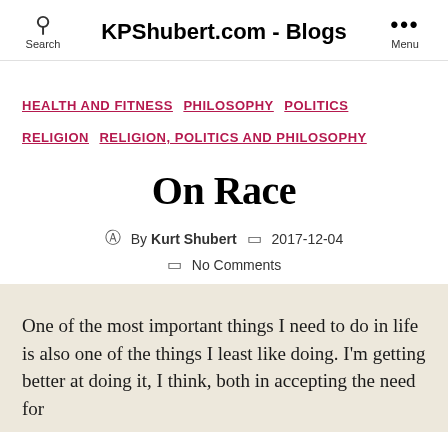KPShubert.com - Blogs
HEALTH AND FITNESS  PHILOSOPHY  POLITICS  RELIGION  RELIGION, POLITICS AND PHILOSOPHY
On Race
By Kurt Shubert   2017-12-04   No Comments
One of the most important things I need to do in life is also one of the things I least like doing. I'm getting better at doing it, I think, both in accepting the need for